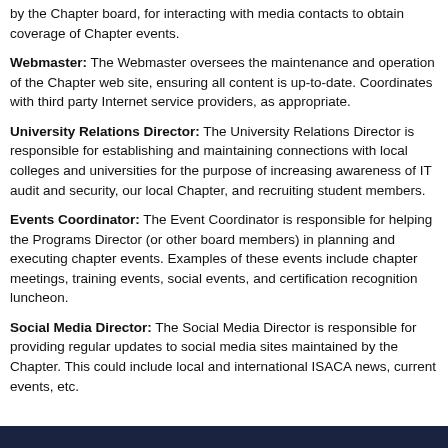by the Chapter board, for interacting with media contacts to obtain coverage of Chapter events.
Webmaster: The Webmaster oversees the maintenance and operation of the Chapter web site, ensuring all content is up-to-date. Coordinates with third party Internet service providers, as appropriate.
University Relations Director: The University Relations Director is responsible for establishing and maintaining connections with local colleges and universities for the purpose of increasing awareness of IT audit and security, our local Chapter, and recruiting student members.
Events Coordinator: The Event Coordinator is responsible for helping the Programs Director (or other board members) in planning and executing chapter events. Examples of these events include chapter meetings, training events, social events, and certification recognition luncheon.
Social Media Director: The Social Media Director is responsible for providing regular updates to social media sites maintained by the Chapter. This could include local and international ISACA news, current events, etc.